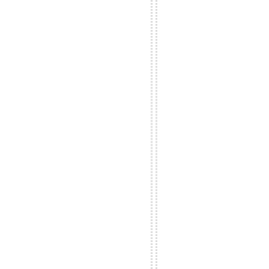pyieldincreaseandrelatedincome